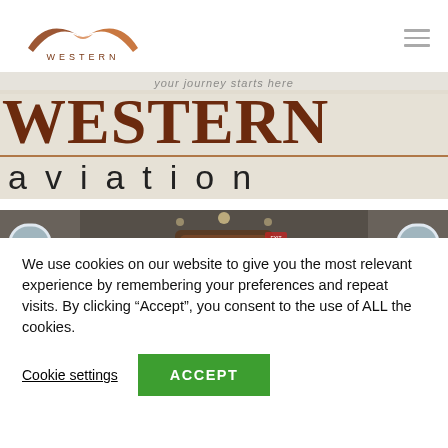[Figure (logo): Western Aviation logo — stylized swoosh/wings in brown/orange tones above the word WESTERN in spaced brown serif caps]
[Figure (photo): Western Aviation hero banner showing large 'WESTERN' in dark red serif type and 'aviation' in spaced sans-serif below, overlaid on a light beige background, with a photo of a private jet interior cabin showing white leather seats and wood paneling below]
We use cookies on our website to give you the most relevant experience by remembering your preferences and repeat visits. By clicking “Accept”, you consent to the use of ALL the cookies.
Cookie settings
ACCEPT